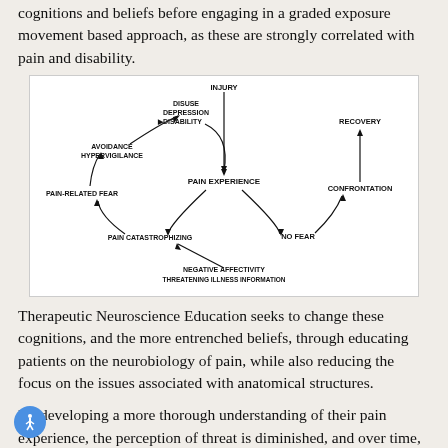cognitions and beliefs before engaging in a graded exposure movement based approach, as these are strongly correlated with pain and disability.
[Figure (flowchart): Fear-avoidance model diagram showing pain cycle. Central node: PAIN EXPERIENCE. Arrows show: INJURY leads to PAIN EXPERIENCE; PAIN EXPERIENCE leads to PAIN CATASTROPHIZING; PAIN CATASTROPHIZING leads to PAIN-RELATED FEAR; PAIN-RELATED FEAR leads to AVOIDANCE HYPERVIGILANCE; AVOIDANCE HYPERVIGILANCE leads to DISUSE DEPRESSION DISABILITY; DISUSE DEPRESSION DISABILITY loops back to PAIN EXPERIENCE. Right path: PAIN EXPERIENCE leads to NO FEAR; NO FEAR leads to CONFRONTATION; CONFRONTATION leads to RECOVERY. Bottom: NEGATIVE AFFECTIVITY THREATENING ILLNESS INFORMATION leads to PAIN CATASTROPHIZING.]
Therapeutic Neuroscience Education seeks to change these cognitions, and the more entrenched beliefs, through educating patients on the neurobiology of pain, while also reducing the focus on the issues associated with anatomical structures.
By developing a more thorough understanding of their pain experience, the perception of threat is diminished, and over time, patients are able to reduce their pain, increase their function...